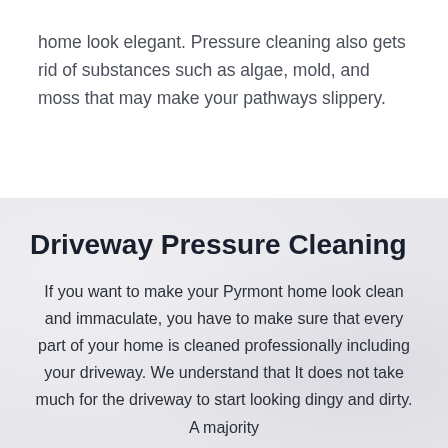home look elegant. Pressure cleaning also gets rid of substances such as algae, mold, and moss that may make your pathways slippery.
Driveway Pressure Cleaning
If you want to make your Pyrmont home look clean and immaculate, you have to make sure that every part of your home is cleaned professionally including your driveway. We understand that It does not take much for the driveway to start looking dingy and dirty. A majority